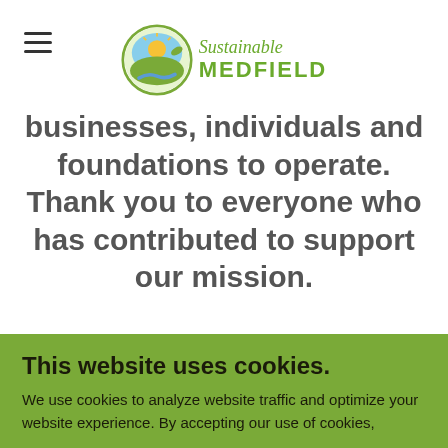Sustainable MEDFIELD logo and navigation
businesses, individuals and foundations to operate. Thank you to everyone who has contributed to support our mission.
DONORS & SPONSORS
This website uses cookies.
We use cookies to analyze website traffic and optimize your website experience. By accepting our use of cookies,